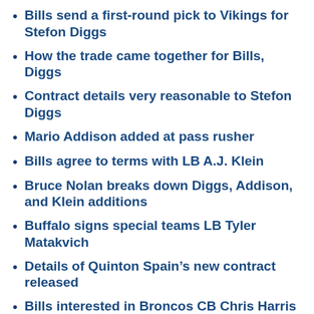Bills send a first-round pick to Vikings for Stefon Diggs
How the trade came together for Bills, Diggs
Contract details very reasonable to Stefon Diggs
Mario Addison added at pass rusher
Bills agree to terms with LB A.J. Klein
Bruce Nolan breaks down Diggs, Addison, and Klein additions
Buffalo signs special teams LB Tyler Matakvich
Details of Quinton Spain’s new contract released
Bills interested in Broncos CB Chris Harris